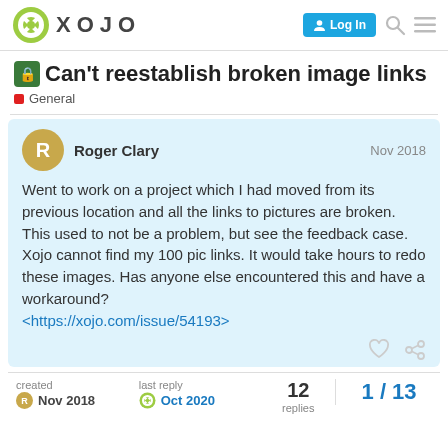Xojo — Log In
Can't reestablish broken image links
General
Roger Clary  Nov 2018
Went to work on a project which I had moved from its previous location and all the links to pictures are broken. This used to not be a problem, but see the feedback case. Xojo cannot find my 100 pic links. It would take hours to redo these images. Has anyone else encountered this and have a workaround?
<https://xojo.com/issue/54193>
created  Nov 2018     last reply  Oct 2020     12 replies     1 / 13